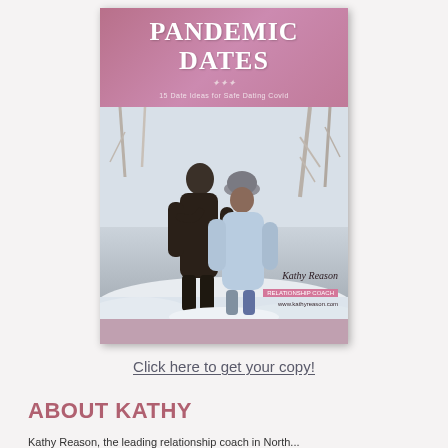[Figure (illustration): Book cover for 'Pandemic Dates' by Kathy (last name partially visible). The cover has a dusty rose/mauve header banner with large white serif title text 'PANDEMIC DATES' and a subtitle '15 Date Ideas for Safe Dating Covid'. Below the banner is a photograph of a couple embracing outdoors in a snowy winter scene, a man in a black jacket and a woman in a light blue jacket and grey hat. Author signature block appears in lower right corner.]
Click here to get your copy!
ABOUT KATHY
Kathy Reason, the leading relationship coach in North...